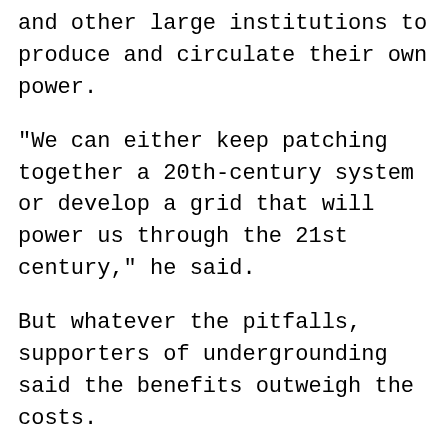and other large institutions to produce and circulate their own power.
"We can either keep patching together a 20th-century system or develop a grid that will power us through the 21st century," he said.
But whatever the pitfalls, supporters of undergrounding said the benefits outweigh the costs.
"Weather experts say derechos will hit D.C. once every four years," said Jim Dinegar of the Greater Washington Board of Trade. "When the power goes, we lose safety and economic security. Not undergrounding and expecting different results is not sensible. We fully